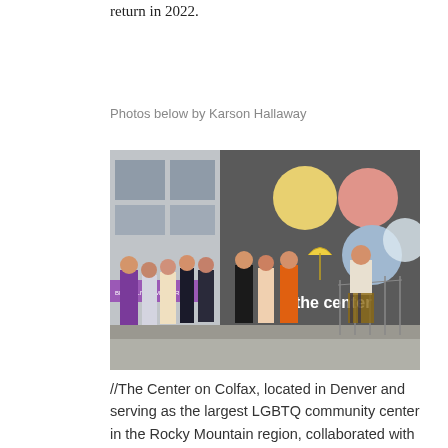return in 2022.
Photos below by Karson Hallaway
[Figure (photo): Crowd of people standing outside The Center on Colfax building in Denver. The building has a dark brick facade with large colorful circles (yellow, pink/salmon, blue, white) and 'the center' written in white text. A 'Black Lives Matter' banner is visible on the left side. People are dressed casually; one person on the right wears a plaid kilt.]
//The Center on Colfax, located in Denver and serving as the largest LGBTQ community center in the Rocky Mountain region, collaborated with local